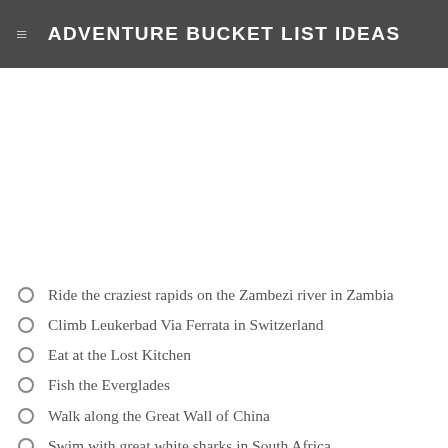ADVENTURE BUCKET LIST IDEAS
Ride the craziest rapids on the Zambezi river in Zambia
Climb Leukerbad Via Ferrata in Switzerland
Eat at the Lost Kitchen
Fish the Everglades
Walk along the Great Wall of China
Swim with great white sharks in South Africa
Lounge on Lake Powell